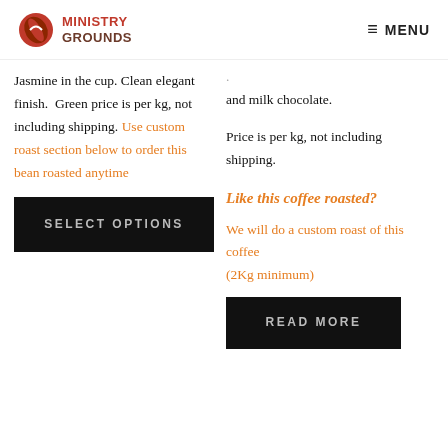MINISTRY GROUNDS — MENU
Jasmine in the cup. Clean elegant finish.  Green price is per kg, not including shipping. Use custom roast section below to order this bean roasted anytime
SELECT OPTIONS
and milk chocolate.

Price is per kg, not including shipping.

Like this coffee roasted?

We will do a custom roast of this coffee (2Kg minimum)
READ MORE